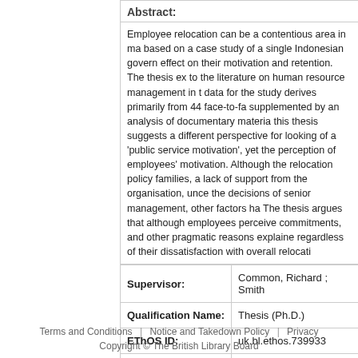Abstract:
Employee relocation can be a contentious area in ma based on a case study of a single Indonesian govern effect on their motivation and retention. The thesis ex to the literature on human resource management in t data for the study derives primarily from 44 face-to-fa supplemented by an analysis of documentary materia this thesis suggests a different perspective for looking of a 'public service motivation', yet the perception of employees' motivation. Although the relocation policy families, a lack of support from the organisation, unce the decisions of senior management, other factors ha The thesis argues that although employees perceive commitments, and other pragmatic reasons explaine regardless of their dissatisfaction with overall relocati
|  |  |
| --- | --- |
| Supervisor: | Common, Richard ; Smith |
| Qualification Name: | Thesis (Ph.D.) |
| EThOS ID: | uk.bl.ethos.739933 |
| Share: |  |
Terms and Conditions | Notice and Takedown Policy | Privacy
Copyright © The British Library Board